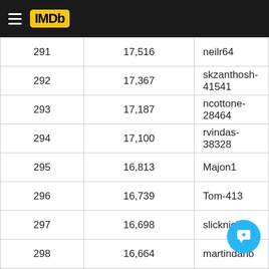IMDb
| 291 | 17,516 | neilr64 |
| 292 | 17,367 | skzanthosh-41541 |
| 293 | 17,187 | ncottone-28464 |
| 294 | 17,100 | rvindas-38328 |
| 295 | 16,813 | Majon1 |
| 296 | 16,739 | Tom-413 |
| 297 | 16,698 | slicknickxp |
| 298 | 16,664 | martindano |
| 299 | 16,661 | agbaomi |